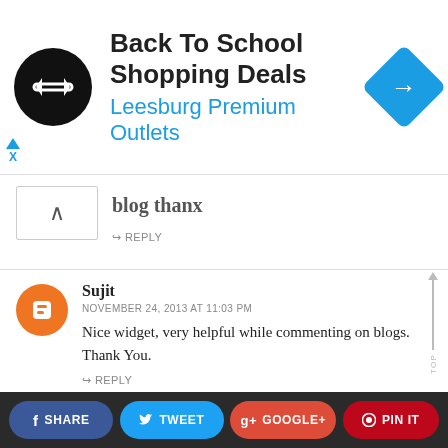[Figure (infographic): Ad banner for Back To School Shopping Deals at Leesburg Premium Outlets]
blog thanx
↪ REPLY
Sujit
NOVEMBER 24, 2013 AT 11:03 PM
Nice widget, very helpful while commenting on blogs. Thank You.
↪ REPLY
Tiff Noir
DECEMBER 10, 2013 AT 11:15 AM
Hi there! First of all, thanks for making awesome codes.
f SHARE
TWEET
g+ GOOGLE+
PIN IT